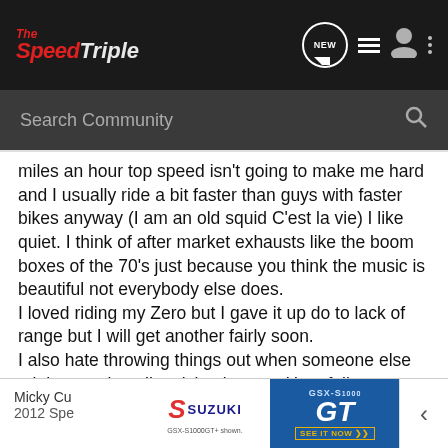The SpeedTriple — navigation bar with NEW, list, user, and menu icons, and Search Community search bar
miles an hour top speed isn't going to make me hard and I usually ride a bit faster than guys with faster bikes anyway (I am an old squid C'est la vie) I like quiet. I think of after market exhausts like the boom boxes of the 70's just because you think the music is beautiful not everybody else does.
I loved riding my Zero but I gave it up do to lack of range but I will get another fairly soon.
I also hate throwing things out when someone else might want it so I'm giving it away. Hopefully someone who thinks the music is beautiful will come and get it. All in all I'm a happy guy and my bike is what I want. I wish the same for you.
[Figure (screenshot): Suzuki GSX-S1000 GT advertisement banner with Suzuki logo on left and GT model name on right with 'SEE IT NOW' call to action]
Micky Cu
2012 Spe